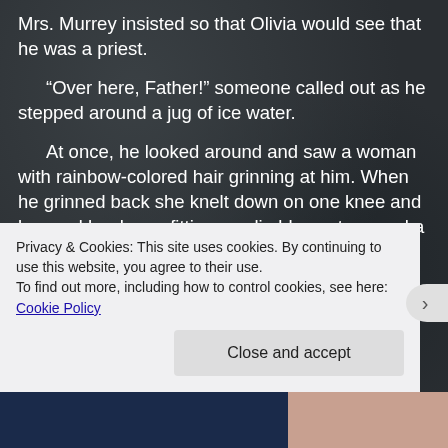Mrs. Murrey insisted so that Olivia would see that he was a priest.
“Over here, Father!” someone called out as he stepped around a jug of ice water.
At once, he looked around and saw a woman with rainbow-colored hair grinning at him. When he grinned back she knelt down on one knee and lowered her loose-fitting muslin blouse to reveal a cross pierced through her left nipple.
“For you, Father!” she cackled furiously, her green
Privacy & Cookies: This site uses cookies. By continuing to use this website, you agree to their use.
To find out more, including how to control cookies, see here: Cookie Policy
Close and accept